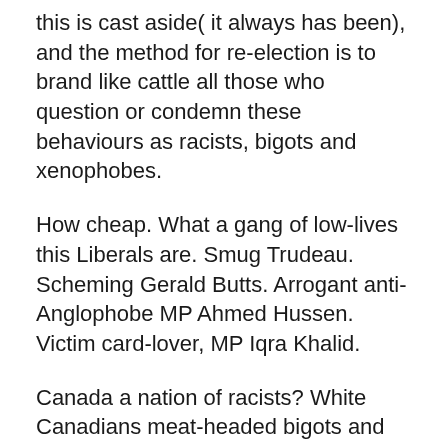this is cast aside( it always has been), and the method for re-election is to brand like cattle all those who question or condemn these behaviours as racists, bigots and xenophobes.
How cheap. What a gang of low-lives this Liberals are. Smug Trudeau. Scheming Gerald Butts. Arrogant anti- Anglophobe MP Ahmed Hussen. Victim card-lover, MP Iqra Khalid.
Canada a nation of racists? White Canadians meat-headed bigots and xenophobes? Ever heard of Pakistan, Ms. Khalid? You are from this country, are you not? In Pakistan, Christians must pay an extra tax simply for being Christian. What do you have to say